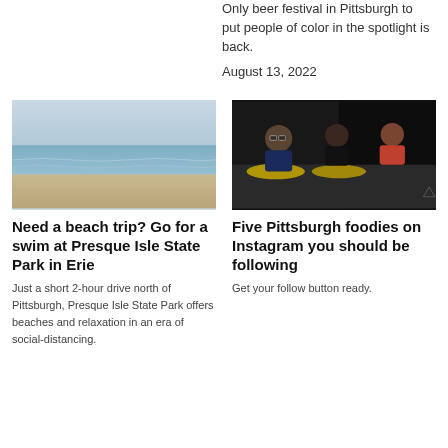Only beer festival in Pittsburgh to put people of color in the spotlight is back. August 13, 2022
[Figure (photo): Beach and lake shoreline with sandy beach, calm water, and overcast sky — likely Presque Isle State Park on Lake Erie]
Need a beach trip? Go for a swim at Presque Isle State Park in Erie
Just a short 2-hour drive north of Pittsburgh, Presque Isle State Park offers beaches and relaxation in an era of social-distancing.
[Figure (photo): Three people seated at a table in a dark restaurant setting — two women and a man with glasses — apparently dining or being filmed]
Five Pittsburgh foodies on Instagram you should be following
Get your follow button ready.